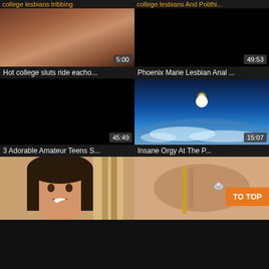[Figure (screenshot): Video thumbnail grid - top partial row showing two video titles in orange]
college lesbians tribbing
college lesbians And Polithi...
[Figure (photo): Skin-tone intimate video thumbnail with duration 5:00]
[Figure (photo): Black thumbnail with duration 49:53]
Hot college sluts ride eacho...
Phoenix Marie Lesbian Anal ...
[Figure (photo): Black thumbnail with duration 45:49]
[Figure (photo): Sky/earth from space thumbnail with duration 15:07]
3 Adorable Amateur Teens S...
Insane Orgy At The P...
[Figure (photo): Portrait of young woman smiling near window]
[Figure (photo): Close-up skin thumbnail]